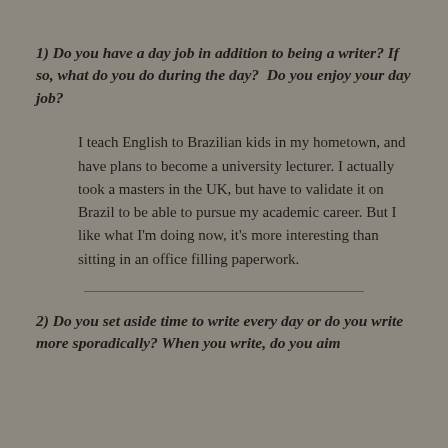1) Do you have a day job in addition to being a writer? If so, what do you do during the day?  Do you enjoy your day job?
I teach English to Brazilian kids in my hometown, and have plans to become a university lecturer. I actually took a masters in the UK, but have to validate it on Brazil to be able to pursue my academic career. But I like what I'm doing now, it's more interesting than sitting in an office filling paperwork.
2) Do you set aside time to write every day or do you write more sporadically? When you write, do you aim